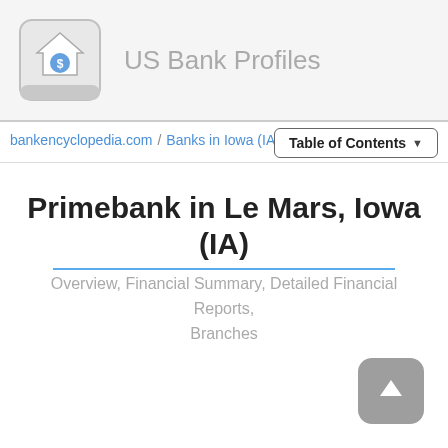US Bank Profiles
bankencyclopedia.com / Banks in Iowa (IA) / Primebank
Primebank in Le Mars, Iowa (IA)
Overview, Financial Summary, Detailed Financial Reports, Branches